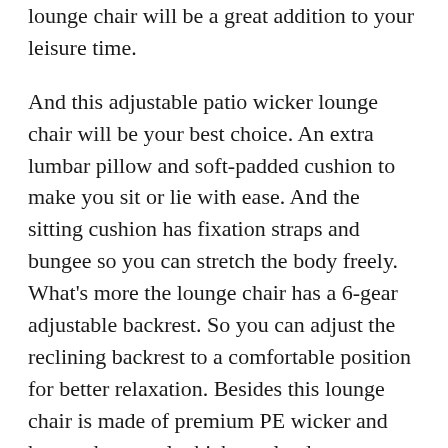lounge chair will be a great addition to your leisure time.
And this adjustable patio wicker lounge chair will be your best choice. An extra lumbar pillow and soft-padded cushion to make you sit or lie with ease. And the sitting cushion has fixation straps and bungee so you can stretch the body freely. What's more the lounge chair has a 6-gear adjustable backrest. So you can adjust the reclining backrest to a comfortable position for better relaxation. Besides this lounge chair is made of premium PE wicker and heavy-duty steel which can load up to 400lbs. Undoubtedly this modern PE rattan lounge chair has wide application for indoor and outdoor use.
If you're looking for a lounge chair don't wait to put it